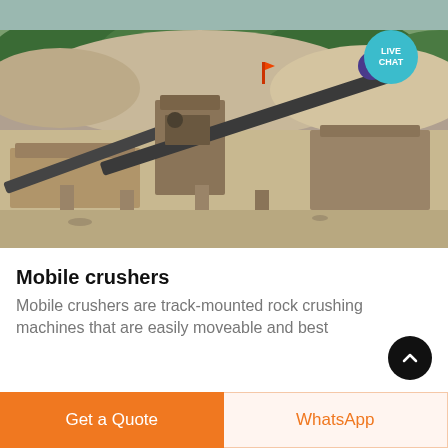[Figure (photo): Aerial/elevated view of a large mobile rock crushing plant with conveyor belts, industrial machinery, sandy terrain, and green hills in the background. A 'LIVE CHAT' bubble is visible in the upper-right corner of the photo.]
Mobile crushers
Mobile crushers are track-mounted rock crushing machines that can easily move around the site...